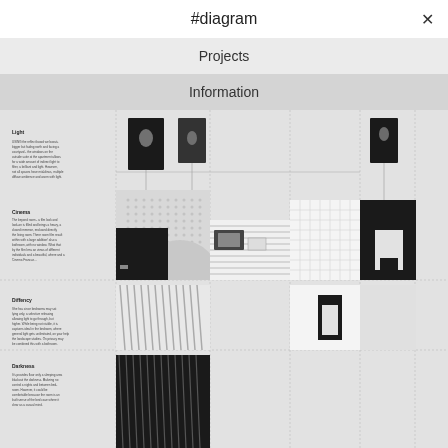#diagram
Projects
Information
[Figure (schematic): Architectural diagram page showing a grid-based layout with multiple sections labeled Light, Cinema, Diffency, Darkness. The diagram contains black and white rectangular shapes, textures (striped, dotted, grid patterns), and small floor plan or elevation drawings arranged in a grid. Left column has descriptive text paragraphs for each section. Right portions show various architectural representations including windows, doors, and spatial elements rendered in black and white.]